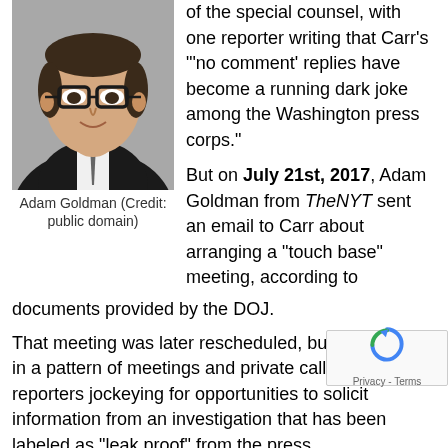[Figure (photo): Headshot of Adam Goldman, a man with dark hair and glasses wearing a dark suit and tie]
Adam Goldman (Credit: public domain)
of the special counsel, with one reporter writing that Carr's "'no comment' replies have become a running dark joke among the Washington press corps."
But on July 21st, 2017, Adam Goldman from TheNYT sent an email to Carr about arranging a “touch base” meeting, according to documents provided by the DOJ.
That meeting was later rescheduled, but it is just one in a pattern of meetings and private calls from reporters jockeying for opportunities to solicit information from an investigation that has been labeled as “leak proof” from the press.
Ironically, Vox was one of those exact outlets that proclaimed Mueller’s team as immune to leaks — despite of its reporters communicating extensively with Carr w… (Read more: The Daily Caller, 9/28/2018)